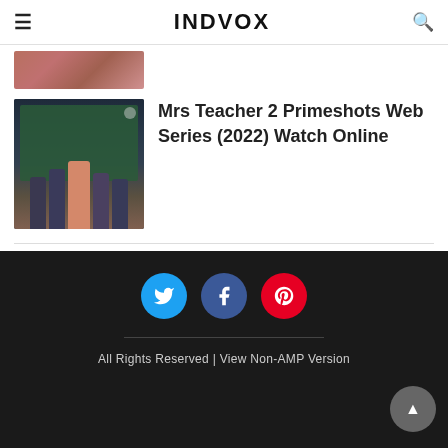INDVOX
[Figure (photo): Partially visible cropped image showing fabric/clothing in pink/red tones]
[Figure (photo): Thumbnail of Mrs Teacher 2 Primeshots web series showing students and teacher in front of chalkboard]
Mrs Teacher 2 Primeshots Web Series (2022) Watch Online
[Figure (other): Twitter, Facebook, Pinterest social media icons as circular buttons in dark footer]
All Rights Reserved | View Non-AMP Version